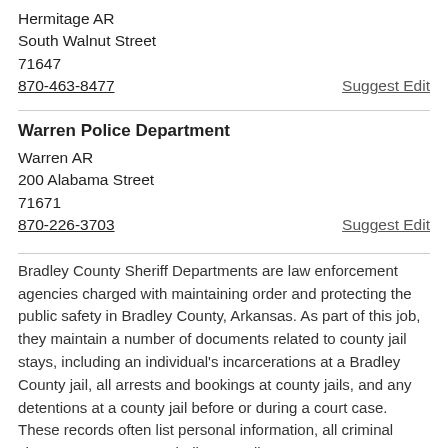Hermitage AR
South Walnut Street
71647
870-463-8477
Suggest Edit
Warren Police Department
Warren AR
200 Alabama Street
71671
870-226-3703
Suggest Edit
Bradley County Sheriff Departments are law enforcement agencies charged with maintaining order and protecting the public safety in Bradley County, Arkansas. As part of this job, they maintain a number of documents related to county jail stays, including an individual's incarcerations at a Bradley County jail, all arrests and bookings at county jails, and any detentions at a county jail before or during a court case. These records often list personal information, all criminal charges, any arrests or bails, as well as court sentences, court-ordered probations, and paroles from county jails. Sheriff Departments may provide online access to their jail